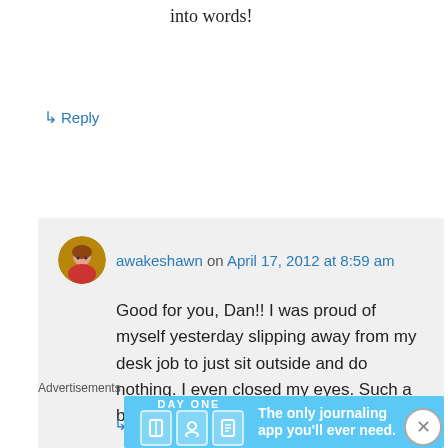...have a good day. Thanks for putting it into words!
↳ Reply
awakeshawn on April 17, 2012 at 8:59 am
Good for you, Dan!! I was proud of myself yesterday slipping away from my desk job to just sit outside and do nothing. I even closed my eyes. Such a beautiful spring this year.
↳ Reply
Advertisements
[Figure (screenshot): Day One journaling app advertisement banner with light blue background, app icons, and tagline 'The only journaling app you'll ever need.']